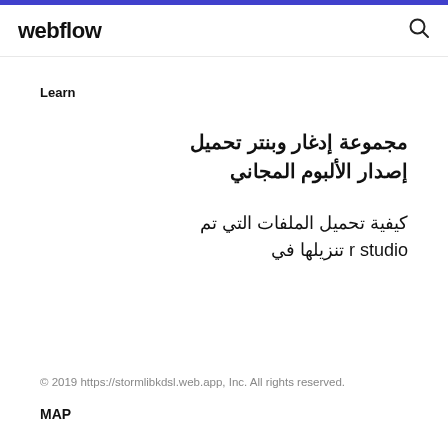webflow
Learn
مجموعة إدغار وبنتر تحميل إصدار الألبوم المجاني
كيفية تحميل الملفات التي تم تنزيلها في r studio
© 2019 https://stormlibkdsl.web.app, Inc. All rights reserved.
MAP